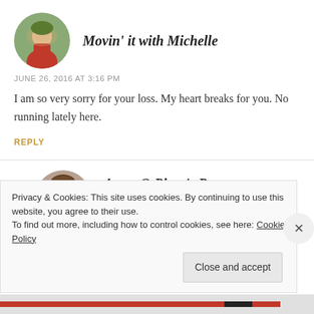[Figure (photo): Circular avatar of Movin' it with Michelle — person in red shirt outdoors]
Movin' it with Michelle
JUNE 26, 2016 AT 3:16 PM
I am so very sorry for your loss. My heart breaks for you. No running lately here.
REPLY
[Figure (photo): Circular avatar of Anna @ Piper's Run — portrait of a person]
Anna @ Piper's Run
Privacy & Cookies: This site uses cookies. By continuing to use this website, you agree to their use.
To find out more, including how to control cookies, see here: Cookie Policy
Close and accept